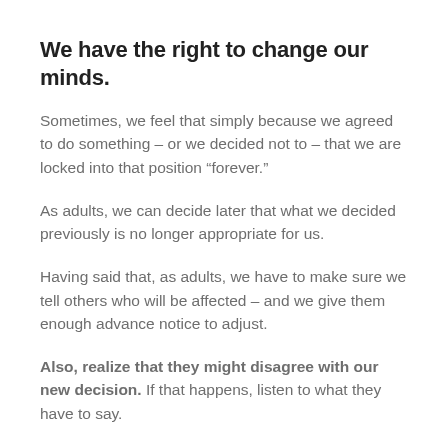We have the right to change our minds.
Sometimes, we feel that simply because we agreed to do something – or we decided not to – that we are locked into that position “forever.”
As adults, we can decide later that what we decided previously is no longer appropriate for us.
Having said that, as adults, we have to make sure we tell others who will be affected – and we give them enough advance notice to adjust.
Also, realize that they might disagree with our new decision. If that happens, listen to what they have to say.